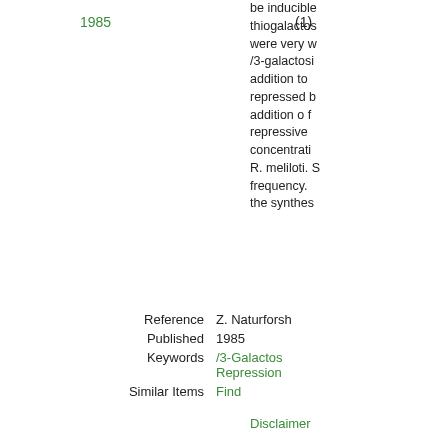1985
(1)
be inducible thiogalactos were very w /3-galactosi addition to repressed b addition o f repressive concentrati R. meliloti. S frequency. the synthes
| Label | Value |
| --- | --- |
| Reference | Z. Naturforsh |
| Published | 1985 |
| Keywords | /3-Galactos Repression |
| Similar Items | Find |
Disclaimer